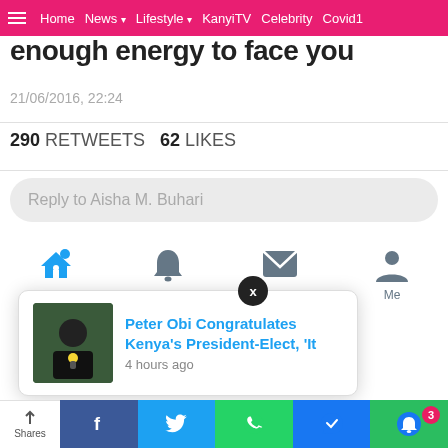Home  News  Lifestyle  KanyiTV  Celebrity  Covid1
enough energy to face you
21/06/2016, 22:24
290 RETWEETS  62 LIKES
Reply to Aisha M. Buhari
[Figure (screenshot): Twitter mobile bottom navigation bar with Home (active, blue), Notifications, Messages, Me icons]
[Figure (screenshot): Notification popup card: Peter Obi Congratulates Kenya's President-Elect, 'It — 4 hours ago, with thumbnail photo and X close button]
Shares  Facebook  Twitter  WhatsApp  Messenger  Bell(3)